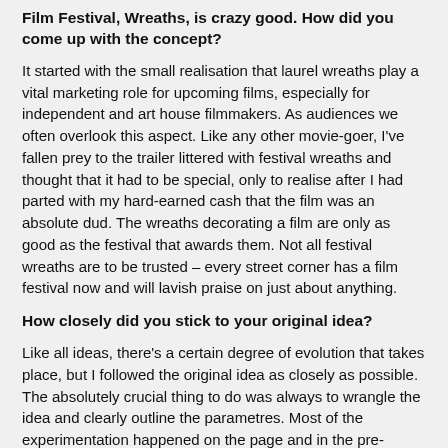Film Festival, Wreaths, is crazy good. How did you come up with the concept?
It started with the small realisation that laurel wreaths play a vital marketing role for upcoming films, especially for independent and art house filmmakers. As audiences we often overlook this aspect. Like any other movie-goer, I've fallen prey to the trailer littered with festival wreaths and thought that it had to be special, only to realise after I had parted with my hard-earned cash that the film was an absolute dud. The wreaths decorating a film are only as good as the festival that awards them. Not all festival wreaths are to be trusted – every street corner has a film festival now and will lavish praise on just about anything.
How closely did you stick to your original idea?
Like all ideas, there's a certain degree of evolution that takes place, but I followed the original idea as closely as possible. The absolutely crucial thing to do was always to wrangle the idea and clearly outline the parametres. Most of the experimentation happened on the page and in the pre-production stages so that any improvisation that happened closely adhered to the original concept.